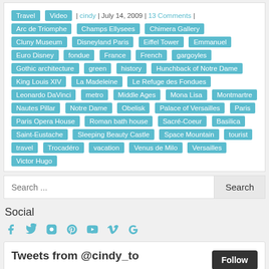Travel | Video | cindy | July 14, 2009 | 13 Comments | Arc de Triomphe | Champs Ellysees | Chimera Gallery | Cluny Museum | Disneyland Paris | Eiffel Tower | Emmanuel | Euro Disney | fondue | France | French | gargoyles | Gothic architecture | green | history | Hunchback of Notre Dame | King Louis XIV | La Madeleine | Le Refuge des Fondues | Leonardo DaVinci | metro | Middle Ages | Mona Lisa | Montmartre | Nautes Pillar | Notre Dame | Obelisk | Palace of Versailles | Paris | Paris Opera House | Roman bath house | Sacré-Coeur | Basilica | Saint-Eustache | Sleeping Beauty Castle | Space Mountain | tourist | travel | Trocadéro | vacation | Venus de Milo | Versailles | Victor Hugo
Search ...
Social
[Figure (infographic): Social media icons: Facebook, Twitter, Instagram, Pinterest, YouTube, Vimeo, Google+]
Tweets from @cindy_to
Follow